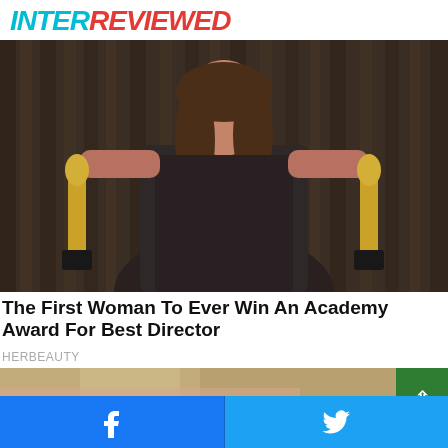INTERREVIEWED
[Figure (photo): Woman in black dress holding two Academy Award (Oscar) statuettes, standing in front of dark curtain backdrop]
The First Woman To Ever Win An Academy Award For Best Director
HERBEAUTY
[Figure (photo): Close-up of blonde woman's face, partially cropped]
Facebook and Twitter share buttons